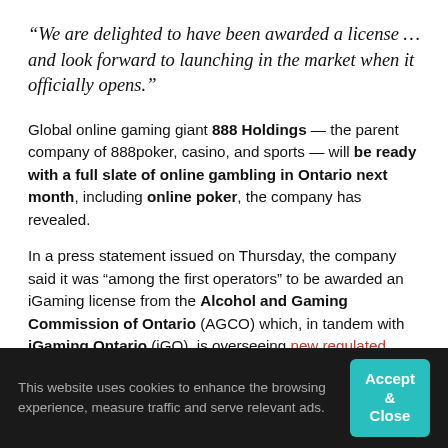“We are delighted to have been awarded a license … and look forward to launching in the market when it officially opens.”
Global online gaming giant 888 Holdings — the parent company of 888poker, casino, and sports — will be ready with a full slate of online gambling in Ontario next month, including online poker, the company has revealed.
In a press statement issued on Thursday, the company said it was “among the first operators” to be awarded an iGaming license from the Alcohol and Gaming Commission of Ontario (AGCO) which, in tandem with iGaming Ontario (iGO), is overseeing new regulated online gaming market in Ontario.
This website uses cookies to enhance the browsing experience, measure traffic and serve relevant ads.